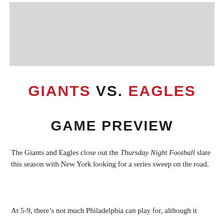[Figure (other): Light gray rectangular image placeholder at the top of the page]
GIANTS VS. EAGLES
GAME PREVIEW
The Giants and Eagles close out the Thursday Night Football slate this season with New York looking for a series sweep on the road.
At 5-9, there's not much Philadelphia can play for, although it